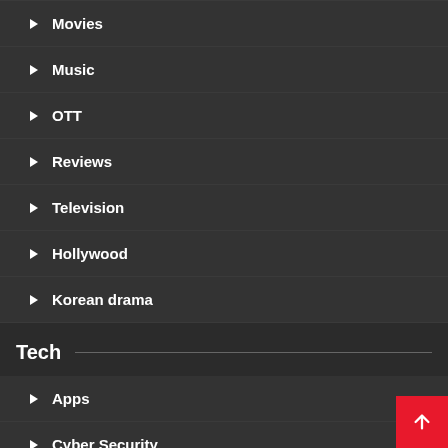Movies
Music
OTT
Reviews
Television
Hollywood
Korean drama
Tech
Apps
Cyber Security